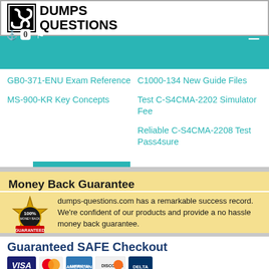[Figure (logo): DumpsQuestions.com logo with stylized S icon]
GB0-371-ENU Exam Reference
C1000-134 New Guide Files
Test C-S4CMA-2202 Simulator Fee
Reliable C-S4CMA-2208 Test Pass4sure
MS-900-KR Key Concepts
Show more
Money Back Guarantee
dumps-questions.com has a remarkable success record. We're confident of our products and provide a no hassle money back guarantee.
How the guarantee works?
Guaranteed SAFE Checkout